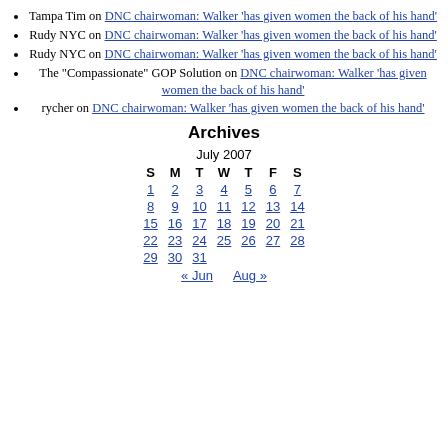Tampa Tim on DNC chairwoman: Walker 'has given women the back of his hand'
Rudy NYC on DNC chairwoman: Walker 'has given women the back of his hand'
Rudy NYC on DNC chairwoman: Walker 'has given women the back of his hand'
The "Compassionate" GOP Solution on DNC chairwoman: Walker 'has given women the back of his hand'
rycher on DNC chairwoman: Walker 'has given women the back of his hand'
Archives
| S | M | T | W | T | F | S |
| --- | --- | --- | --- | --- | --- | --- |
| 1 | 2 | 3 | 4 | 5 | 6 | 7 |
| 8 | 9 | 10 | 11 | 12 | 13 | 14 |
| 15 | 16 | 17 | 18 | 19 | 20 | 21 |
| 22 | 23 | 24 | 25 | 26 | 27 | 28 |
| 29 | 30 | 31 |  |  |  |  |
« Jun   Aug »